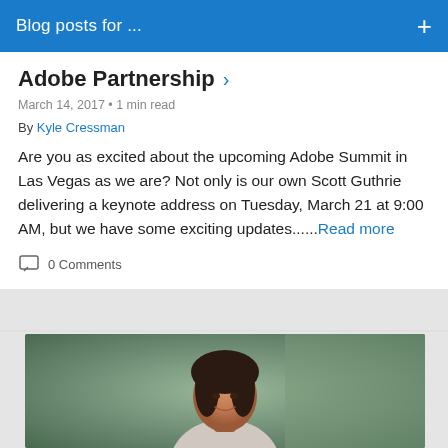Blog posts for ...
Adobe Partnership
March 14, 2017 • 1 min read
By Kyle Cressman
Are you as excited about the upcoming Adobe Summit in Las Vegas as we are? Not only is our own Scott Guthrie delivering a keynote address on Tuesday, March 21 at 9:00 AM, but we have some exciting updates......Read more
0 Comments
[Figure (photo): Photo of a smiling woman with dark hair, professional setting]